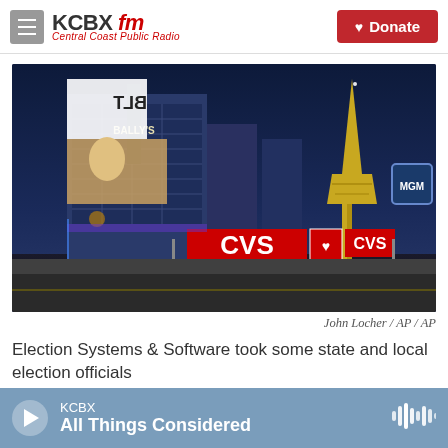KCBX fm Central Coast Public Radio | Donate
[Figure (photo): Night aerial view of the Las Vegas Strip showing CVS store signage, Bally's hotel, the Paris Las Vegas Eiffel Tower replica, and various illuminated billboards and neon signs]
John Locher / AP / AP
Election Systems & Software took some state and local election officials
KCBX — All Things Considered